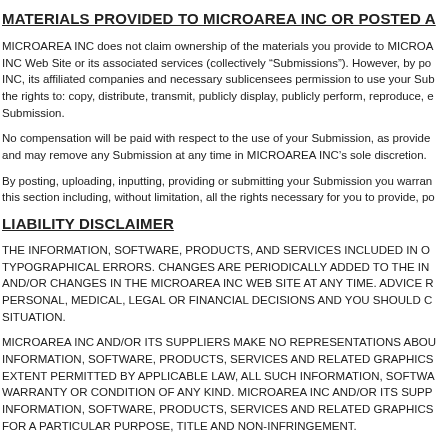MATERIALS PROVIDED TO MICROAREA INC OR POSTED A
MICROAREA INC does not claim ownership of the materials you provide to MICROA INC Web Site or its associated services (collectively "Submissions"). However, by po INC, its affiliated companies and necessary sublicensees permission to use your Sub the rights to: copy, distribute, transmit, publicly display, publicly perform, reproduce, e Submission.
No compensation will be paid with respect to the use of your Submission, as provide and may remove any Submission at any time in MICROAREA INC's sole discretion.
By posting, uploading, inputting, providing or submitting your Submission you warran this section including, without limitation, all the rights necessary for you to provide, po
LIABILITY DISCLAIMER
THE INFORMATION, SOFTWARE, PRODUCTS, AND SERVICES INCLUDED IN O TYPOGRAPHICAL ERRORS. CHANGES ARE PERIODICALLY ADDED TO THE IN AND/OR CHANGES IN THE MICROAREA INC WEB SITE AT ANY TIME. ADVICE R PERSONAL, MEDICAL, LEGAL OR FINANCIAL DECISIONS AND YOU SHOULD C SITUATION.
MICROAREA INC AND/OR ITS SUPPLIERS MAKE NO REPRESENTATIONS ABOU INFORMATION, SOFTWARE, PRODUCTS, SERVICES AND RELATED GRAPHICS EXTENT PERMITTED BY APPLICABLE LAW, ALL SUCH INFORMATION, SOFTWA WARRANTY OR CONDITION OF ANY KIND. MICROAREA INC AND/OR ITS SUPP INFORMATION, SOFTWARE, PRODUCTS, SERVICES AND RELATED GRAPHICS FOR A PARTICULAR PURPOSE, TITLE AND NON-INFRINGEMENT.